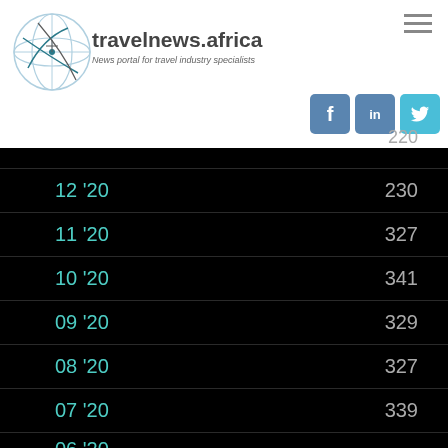travelnews.africa — News portal for travel industry specialists
| Month | Count |
| --- | --- |
| 12 '20 | 230 |
| 11 '20 | 327 |
| 10 '20 | 341 |
| 09 '20 | 329 |
| 08 '20 | 327 |
| 07 '20 | 339 |
| 06 '20 | … |